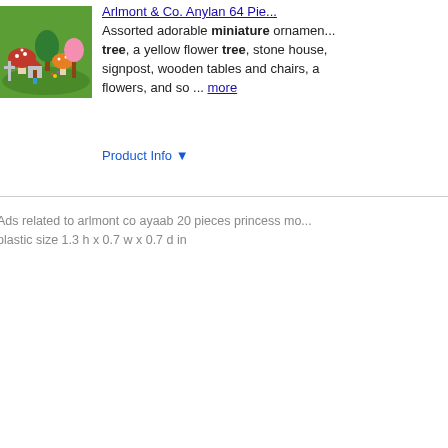[Figure (photo): Product image showing assorted miniature ornaments including mushroom houses, trees, and figurines arranged on green grass background]
Arlmont & Co. Anylan 64 Pie...
Assorted adorable miniature ornaments... tree, a yellow flower tree, stone house, signpost, wooden tables and chairs, a flowers, and so ... more
Product Info ▼
Ads related to arlmont co ayaab 20 pieces princess mo... plastic size 1.3 h x 0.7 w x 0.7 d in
t Connexity   Store Ratings   Top Products   Sitemap   Privacy Policy   User Agreement
es are responsible for providing Bizrate with correct and current prices. Sales taxes a... ned from merchants or third parties. Although we make every effort to present accura... epancies by clicking here.
e ratings and product reviews are submitted by online shoppers; they do not reflect ou...
22 Connexity, Inc. / Bizrate is a division of Connexity, Inc.